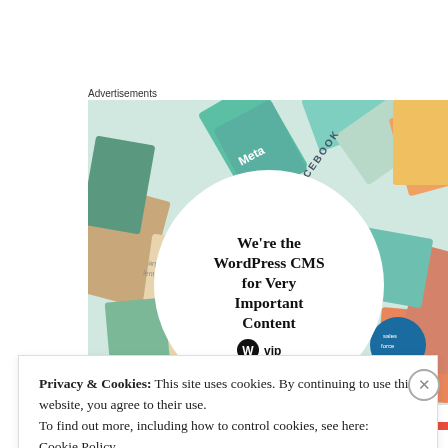Advertisements
[Figure (illustration): WordPress VIP advertisement showing colorful media brand cards (Meta, Facebook, Merck, Salesforce, etc.) arranged as a collage around a central white circle that reads: We're the WordPress CMS for Very Important Content. WordPress VIP logo and a 'Learn more →' button are shown in the circle.]
Privacy & Cookies: This site uses cookies. By continuing to use this website, you agree to their use.
To find out more, including how to control cookies, see here:
Cookie Policy
Close and accept